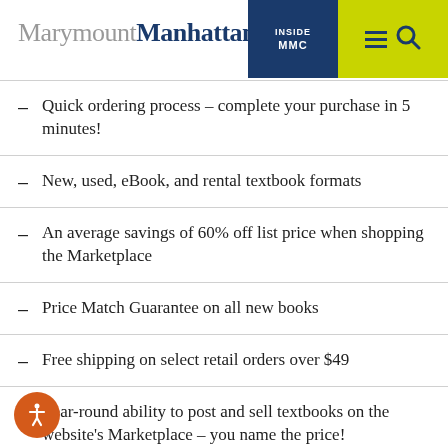MarymountManhattan | INSIDE MMC
Quick ordering process – complete your purchase in 5 minutes!
New, used, eBook, and rental textbook formats
An average savings of 60% off list price when shopping the Marketplace
Price Match Guarantee on all new books
Free shipping on select retail orders over $49
Year-round ability to post and sell textbooks on the website's Marketplace – you name the price!